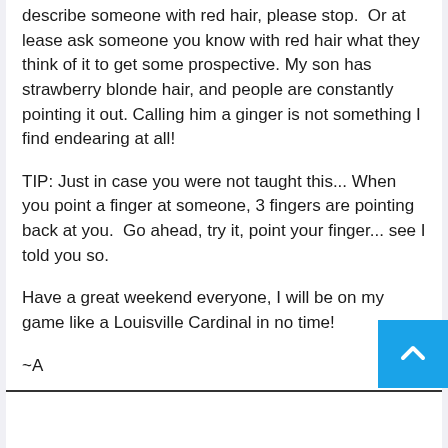describe someone with red hair, please stop.  Or at lease ask someone you know with red hair what they think of it to get some prospective. My son has strawberry blonde hair, and people are constantly pointing it out. Calling him a ginger is not something I find endearing at all!
TIP: Just in case you were not taught this... When you point a finger at someone, 3 fingers are pointing back at you.  Go ahead, try it, point your finger... see I told you so.
Have a great weekend everyone, I will be on my game like a Louisville Cardinal in no time!
~A
P.s.  please go vote for my shit, I am falling from Top Mommy Blog grace and it makes me sad, like when people call red heads gingers. (Just one click below the vote is cast!)